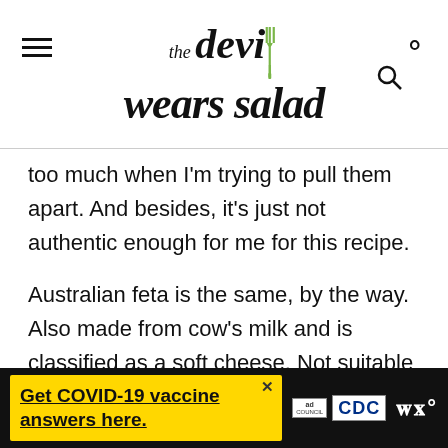the devil wears salad
too much when I'm trying to pull them apart. And besides, it's just not authentic enough for me for this recipe.
Australian feta is the same, by the way. Also made from cow's milk and is classified as a soft cheese. Not suitable for this salad.
[Figure (other): Advertisement banner: 'Get COVID-19 vaccine answers here.' with ad council logo, CDC logo, and WW logo on yellow background with dark surround]